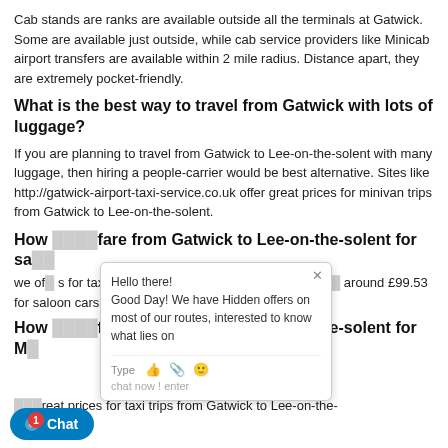Cab stands are ranks are available outside all the terminals at Gatwick. Some are available just outside, while cab service providers like Minicab airport transfers are available within 2 mile radius. Distance apart, they are extremely pocket-friendly.
What is the best way to travel from Gatwick with lots of luggage?
If you are planning to travel from Gatwick to Lee-on-the-solent with many luggage, then hiring a people-carrier would be best alternative. Sites like http://gatwick-airport-taxi-service.co.uk offer great prices for minivan trips from Gatwick to Lee-on-the-solent.
How [obscured] fare from Gatwick to Lee-on-the-solent for sa[obscured]
we of[obscured] s for taxi trips from Gatwick to Lee-on-the-solen[obscured] around £99.53 for saloon cars
How [obscured] fare from Gatwick to Lee-on-the-solent for M[obscured]
[obscured]reat prices for taxi trips from Gatwick to Lee-on-the-
[Figure (screenshot): A live chat popup overlay showing 'Hello there! Good Day! We have Hidden offers on most of our routes, interested to know what lies on' with a chat input row and icons for thumbs up, attachment, emoji. A blue 'Chat' button with a red badge showing '1' is in the bottom left.]